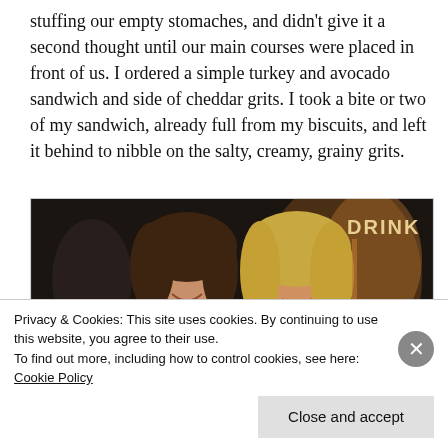stuffing our empty stomaches, and didn't give it a second thought until our main courses were placed in front of us. I ordered a simple turkey and avocado sandwich and side of cheddar grits. I took a bite or two of my sandwich, already full from my biscuits, and left it behind to nibble on the salty, creamy, grainy grits.
[Figure (photo): Two young women smiling together in a dimly lit bar/restaurant setting. A sign reading 'DRINK' is partially visible in the upper right corner.]
Privacy & Cookies: This site uses cookies. By continuing to use this website, you agree to their use.
To find out more, including how to control cookies, see here: Cookie Policy